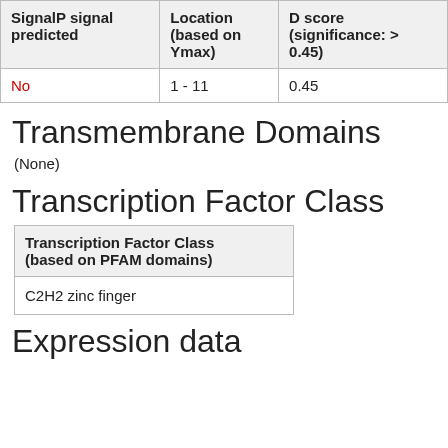| SignalP signal predicted | Location (based on Ymax) | D score (significance: > 0.45) |
| --- | --- | --- |
| No | 1 - 11 | 0.45 |
Transmembrane Domains
(None)
Transcription Factor Class
| Transcription Factor Class (based on PFAM domains) |
| --- |
| C2H2 zinc finger |
Expression data